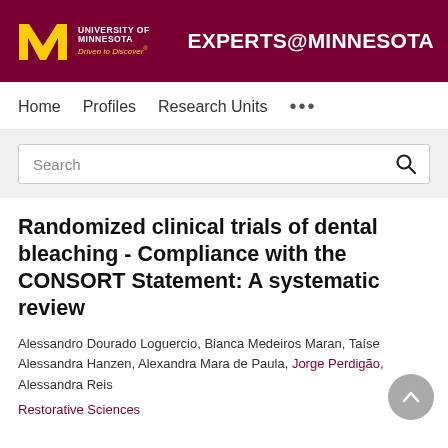University of Minnesota — Driven to Discover | EXPERTS@MINNESOTA
Home   Profiles   Research Units   ...
Search
Randomized clinical trials of dental bleaching - Compliance with the CONSORT Statement: A systematic review
Alessandro Dourado Loguercio, Bianca Medeiros Maran, Taíse Alessandra Hanzen, Alexandra Mara de Paula, Jorge Perdigão, Alessandra Reis
Restorative Sciences